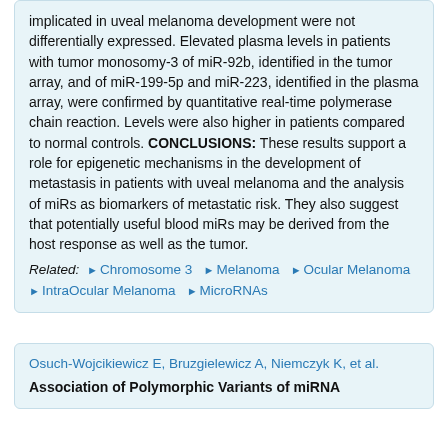implicated in uveal melanoma development were not differentially expressed. Elevated plasma levels in patients with tumor monosomy-3 of miR-92b, identified in the tumor array, and of miR-199-5p and miR-223, identified in the plasma array, were confirmed by quantitative real-time polymerase chain reaction. Levels were also higher in patients compared to normal controls. CONCLUSIONS: These results support a role for epigenetic mechanisms in the development of metastasis in patients with uveal melanoma and the analysis of miRs as biomarkers of metastatic risk. They also suggest that potentially useful blood miRs may be derived from the host response as well as the tumor.
Related: Chromosome 3 | Melanoma | Ocular Melanoma | IntraOcular Melanoma | MicroRNAs
Osuch-Wojcikiewicz E, Bruzgielewicz A, Niemczyk K, et al.
Association of Polymorphic Variants of miRNA